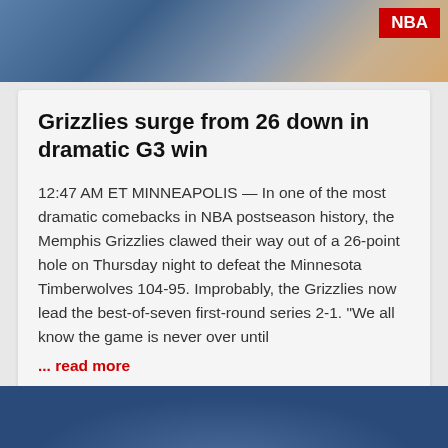[Figure (photo): Basketball players in NBA game action, top banner photo]
Grizzlies surge from 26 down in dramatic G3 win
12:47 AM ET MINNEAPOLIS — In one of the most dramatic comebacks in NBA postseason history, the Memphis Grizzlies clawed their way out of a 26-point hole on Thursday night to defeat the Minnesota Timberwolves 104-95. Improbably, the Grizzlies now lead the best-of-seven first-round series 2-1. "We all know the game is never over until
... read more
April 22, 2022
[Figure (photo): Baseball or sports player photo, bottom partial banner]